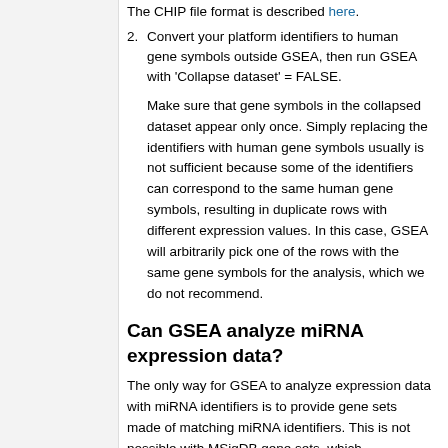The CHIP file format is described here.
2. Convert your platform identifiers to human gene symbols outside GSEA, then run GSEA with 'Collapse dataset' = FALSE.
Make sure that gene symbols in the collapsed dataset appear only once. Simply replacing the identifiers with human gene symbols usually is not sufficient because some of the identifiers can correspond to the same human gene symbols, resulting in duplicate rows with different expression values. In this case, GSEA will arbitrarily pick one of the rows with the same gene symbols for the analysis, which we do not recommend.
Can GSEA analyze miRNA expression data?
The only way for GSEA to analyze expression data with miRNA identifiers is to provide gene sets made of matching miRNA identifiers. This is not possible with MSigDB gene sets, which…